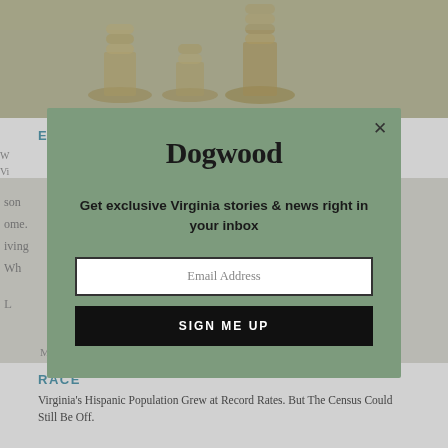[Figure (photo): Background photo of stacked coins on a surface, blurred/muted]
EDUCATION
[Figure (screenshot): Partially visible background content showing a Census or data table with column headers including Male, son, ome, iving, Wh — obscured by modal overlay]
RACE
Virginia's Hispanic Population Grew at Record Rates. But The Census Could Still Be Off.
[Figure (screenshot): Modal popup dialog on Dogwood website with newsletter signup form. Contains logo 'Dogwood', tagline 'Get exclusive Virginia stories & news right in your inbox', email address input field, and 'SIGN ME UP' button. Close button (X) in top right corner.]